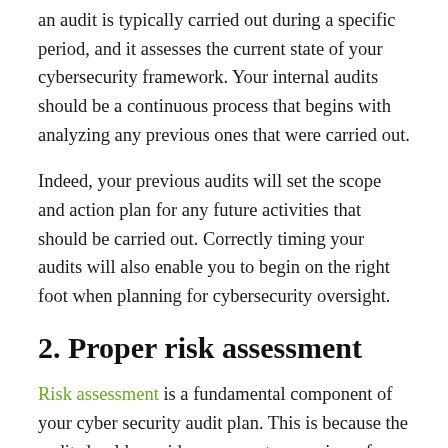an audit is typically carried out during a specific period, and it assesses the current state of your cybersecurity framework. Your internal audits should be a continuous process that begins with analyzing any previous ones that were carried out.
Indeed, your previous audits will set the scope and action plan for any future activities that should be carried out. Correctly timing your audits will also enable you to begin on the right foot when planning for cybersecurity oversight.
2. Proper risk assessment
Risk assessment is a fundamental component of your cyber security audit plan. This is because the audit should provide an accurate overview of your